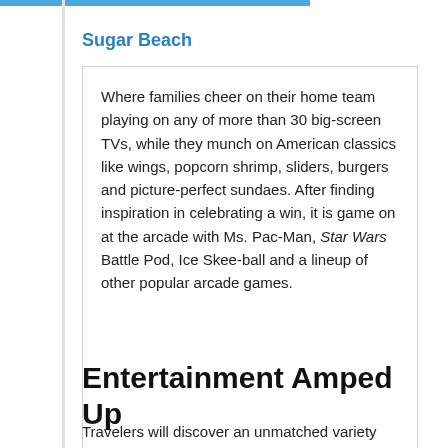Sugar Beach
Where families cheer on their home team playing on any of more than 30 big-screen TVs, while they munch on American classics like wings, popcorn shrimp, sliders, burgers and picture-perfect sundaes. After finding inspiration in celebrating a win, it is game on at the arcade with Ms. Pac-Man, Star Wars Battle Pod, Ice Skee-ball and a lineup of other popular arcade games.
Entertainment Amped Up
Travelers will discover an unmatched variety